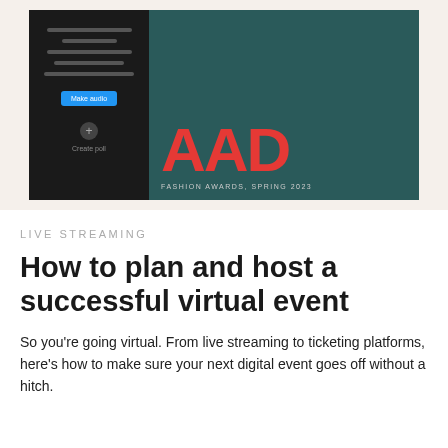[Figure (screenshot): Split image showing a dark mobile app UI on the left with form fields and a blue 'Make audio' button, and on the right a magazine cover for 'AAD Fashion Awards, Spring 2023' with large red text on a dark teal background featuring a man's portrait.]
LIVE STREAMING
How to plan and host a successful virtual event
So you’re going virtual. From live streaming to ticketing platforms, here’s how to make sure your next digital event goes off without a hitch.